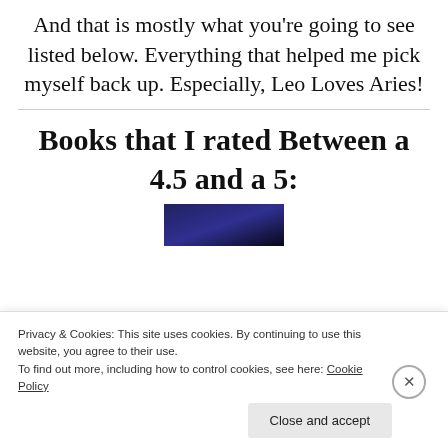And that is mostly what you're going to see listed below. Everything that helped me pick myself back up. Especially, Leo Loves Aries!
Books that I rated Between a 4.5 and a 5:
[Figure (photo): Partial view of a book cover with dark blue/black space-themed imagery]
Privacy & Cookies: This site uses cookies. By continuing to use this website, you agree to their use. To find out more, including how to control cookies, see here: Cookie Policy
Close and accept